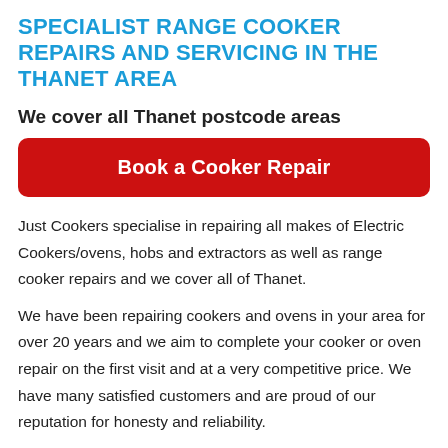SPECIALIST RANGE COOKER REPAIRS AND SERVICING IN THE THANET AREA
We cover all Thanet postcode areas
Book a Cooker Repair
Just Cookers specialise in repairing all makes of Electric Cookers/ovens, hobs and extractors as well as range cooker repairs and we cover all of Thanet.
We have been repairing cookers and ovens in your area for over 20 years and we aim to complete your cooker or oven repair on the first visit and at a very competitive price. We have many satisfied customers and are proud of our reputation for honesty and reliability.